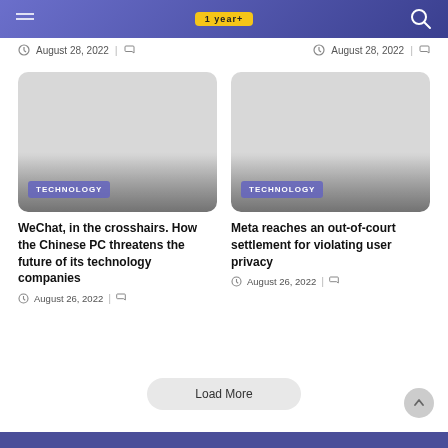1 year+
August 28, 2022
August 28, 2022
[Figure (screenshot): Article card image with TECHNOLOGY badge — WeChat article]
WeChat, in the crosshairs. How the Chinese PC threatens the future of its technology companies
August 26, 2022
[Figure (screenshot): Article card image with TECHNOLOGY badge — Meta article]
Meta reaches an out-of-court settlement for violating user privacy
August 26, 2022
Load More